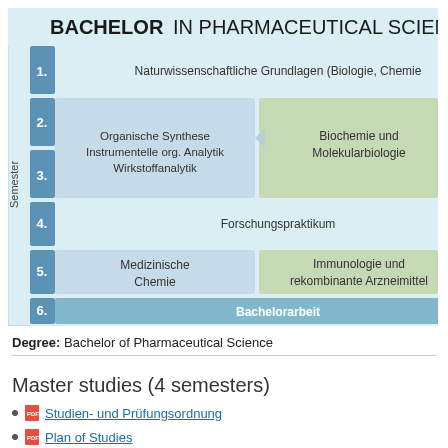[Figure (infographic): Bachelor in Pharmaceutical Sciences curriculum diagram showing 6 semesters with modules: Naturwissenschaftliche Grundlagen (Biologie, Chemie...), Organische Synthese / Instrumentelle org. Analytik / Wirkstoffanalytik, Biochemie und Molekularbiologie, Forschungspraktikum, Medizinische Chemie, Immunologie und rekombinante Arzneimittel, Bachelorarbeit]
Degree: Bachelor of Pharmaceutical Science
Master studies (4 semesters)
Studien- und Prüfungsordnung
Plan of Studies
Module Handbook